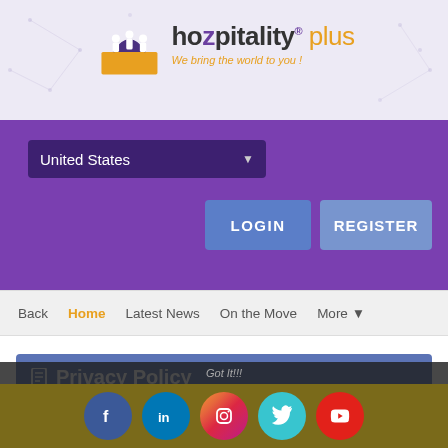[Figure (logo): Hozpitality Plus logo with icon of people and tagline 'We bring the world to you!']
United States  LOGIN  REGISTER
Back  Home  Latest News  On the Move  More
Privacy Policy
Last updated: September 15, 2018
Hozpitality Plus recognizes that your privacy is very important, and
About Us  Contact  Subscription  Advertising  Terms  Privacy  News Room  Acceptable Use Policy
Got It!!!
[Figure (other): Social media icons: Facebook, LinkedIn, Instagram, Twitter, YouTube]